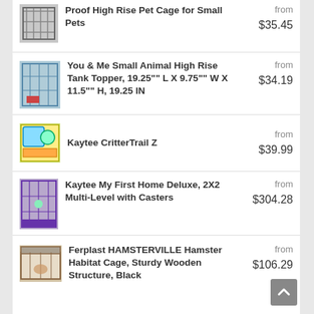Proof High Rise Pet Cage for Small Pets — from $35.45
You & Me Small Animal High Rise Tank Topper, 19.25"" L X 9.75"" W X 11.5"" H, 19.25 IN — from $34.19
Kaytee CritterTrail Z — from $39.99
Kaytee My First Home Deluxe, 2X2 Multi-Level with Casters — from $304.28
Ferplast HAMSTERVILLE Hamster Habitat Cage, Sturdy Wooden Structure, Black — from $106.29